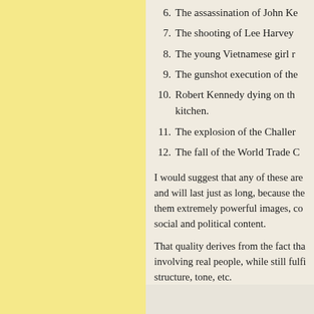6. The assassination of John Ke
7. The shooting of Lee Harvey
8. The young Vietnamese girl r
9. The gunshot execution of the
10. Robert Kennedy dying on th kitchen.
11. The explosion of the Challer
12. The fall of the World Trade C
I would suggest that any of these are and will last just as long, because the them extremely powerful images, co social and political content.
That quality derives from the fact tha involving real people, while still fulfi structure, tone, etc.